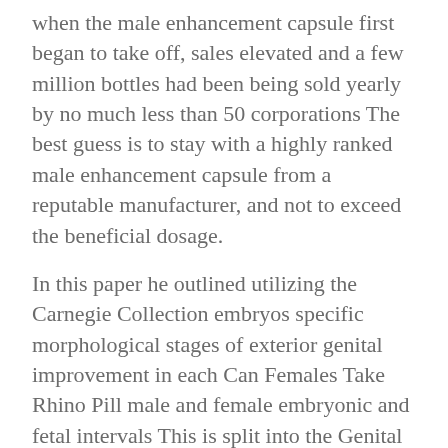when the male enhancement capsule first began to take off, sales elevated and a few million bottles had been being sold yearly by no much less than 50 corporations The best guess is to stay with a highly ranked male enhancement capsule from a reputable manufacturer, and not to exceed the beneficial dosage.
In this paper he outlined utilizing the Carnegie Collection embryos specific morphological stages of exterior genital improvement in each Can Females Take Rhino Pill male and female embryonic and fetal intervals This is split into the Genital Tubercle Period , Phallus Period and Definitive Period Note these are not the Carnegie levels, that can be identified by the Carnegie embryo number The organ of the male reproductive system through which semen passes out of the body throughout sexual intercourse Maintaining a healthy weight can help cut back the chance of developing excessive ldl Can Females Take Rhino Pill cholesterol, high blood pressure, sort 2 diabetes and other threat components